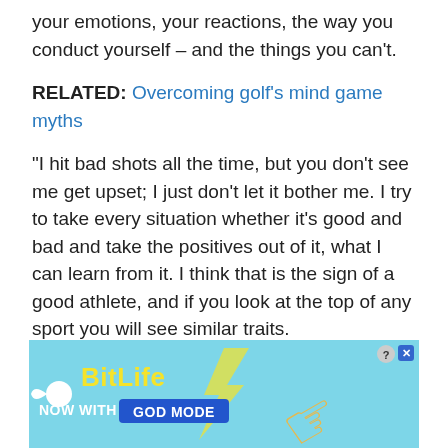your emotions, your reactions, the way you conduct yourself – and the things you can't.
RELATED: Overcoming golf's mind game myths
“I hit bad shots all the time, but you don’t see me get upset; I just don’t let it bother me. I try to take every situation whether it’s good and bad and take the positives out of it, what I can learn from it. I think that is the sign of a good athlete, and if you look at the top of any sport you will see similar traits.
“I appreciate this is something that is easy to say and not so easy to do, but I think I’ve proven I can do it. I’m not sure where the ability has come from, but I think the
[Figure (other): BitLife advertisement banner - 'NOW WITH GOD MODE' with lightning bolt and pointing hand graphic on blue background]